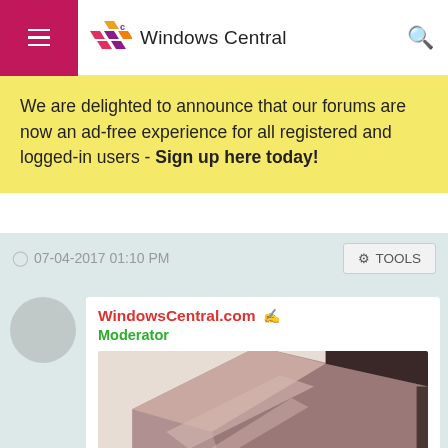Windows Central
We are delighted to announce that our forums are now an ad-free experience for all registered and logged-in users - Sign up here today!
07-04-2017 01:10 PM
TOOLS
WindowsCentral.com Moderator
[Figure (photo): Close-up photo of a rose gold ASUS laptop lid at an angle]